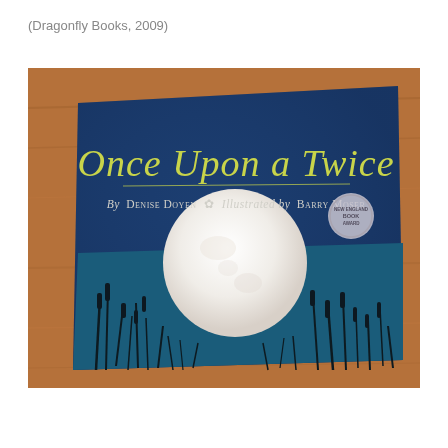(Dragonfly Books, 2009)
[Figure (photo): Photograph of the book cover 'Once Upon a Twice' by Denise Doyen, illustrated by Barry Moser (Dragonfly Books, 2009). The cover shows a dark navy blue background with a large white full moon, silhouettes of reeds and marsh grasses at the bottom, the title 'Once Upon a Twice' in large yellow-green script lettering, and author/illustrator credits below the title. An award medal is visible in the upper right. The book is resting on a wooden surface.]